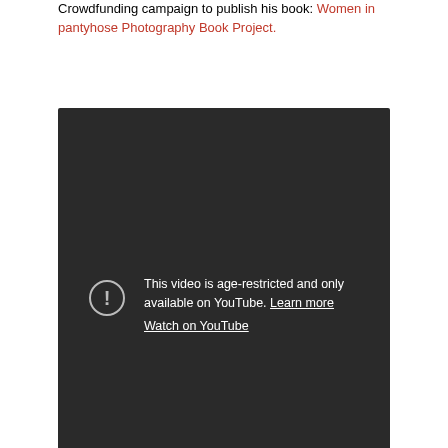Crowdfunding campaign to publish his book: Women in pantyhose Photography Book Project.
[Figure (screenshot): Embedded YouTube video player showing an age-restricted video warning. The dark background displays a circle with exclamation mark icon and the text: 'This video is age-restricted and only available on YouTube. Learn more' and 'Watch on YouTube'. A YouTube play button icon appears in the bottom-right corner.]